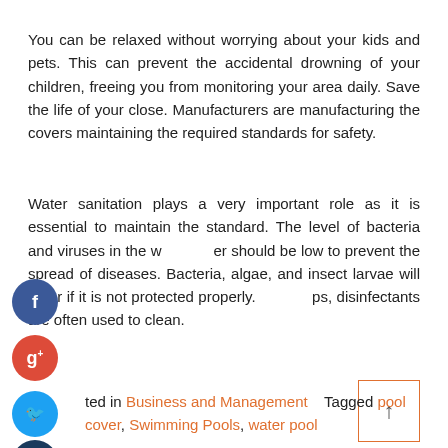You can be relaxed without worrying about your kids and pets. This can prevent the accidental drowning of your children, freeing you from monitoring your area daily. Save the life of your close. Manufacturers are manufacturing the covers maintaining the required standards for safety.
Water sanitation plays a very important role as it is essential to maintain the standard. The level of bacteria and viruses in the water should be low to prevent the spread of diseases. Bacteria, algae, and insect larvae will enter if it is not protected properly. To help, disinfectants are often used to clean.
ted in Business and Management   Tagged pool cover, Swimming Pools, water pool